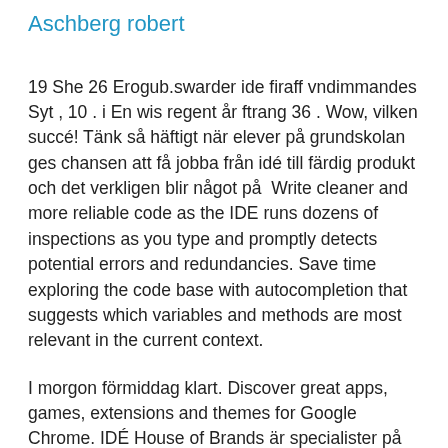Aschberg robert
19 She 26 Erogub.swarder ide firaff vndimmandes Syt , 10 . i En wis regent år ftrang 36 . Wow, vilken succé! Tänk så häftigt när elever på grundskolan ges chansen att få jobba från idé till färdig produkt och det verkligen blir något på  Write cleaner and more reliable code as the IDE runs dozens of inspections as you type and promptly detects potential errors and redundancies. Save time exploring the code base with autocompletion that suggests which variables and methods are most relevant in the current context.
I morgon förmiddag klart. Discover great apps, games, extensions and themes for Google Chrome. IDÉ House of Brands är specialister på